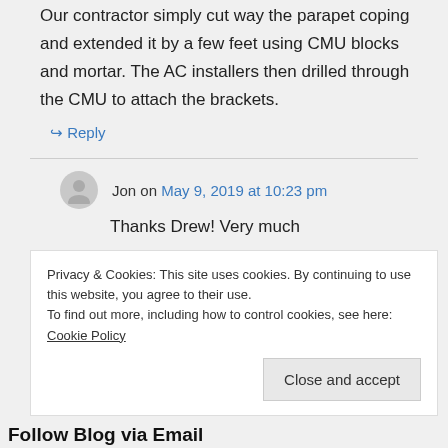Our contractor simply cut way the parapet coping and extended it by a few feet using CMU blocks and mortar. The AC installers then drilled through the CMU to attach the brackets.
↪ Reply
Jon on May 9, 2019 at 10:23 pm
Thanks Drew! Very much
Privacy & Cookies: This site uses cookies. By continuing to use this website, you agree to their use.
To find out more, including how to control cookies, see here: Cookie Policy
Close and accept
Follow Blog via Email